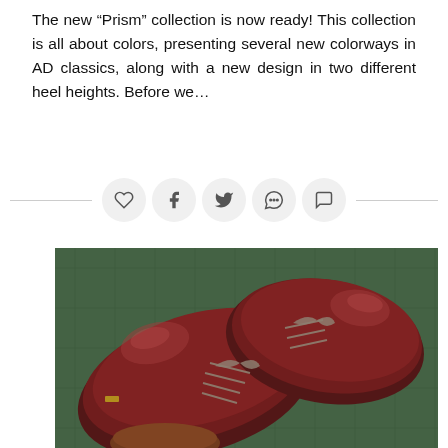The new “Prism” collection is now ready! This collection is all about colors, presenting several new colorways in AD classics, along with a new design in two different heel heights. Before we…
[Figure (other): Social media interaction bar with heart, Facebook, Twitter, Pinterest, and comment icons, each in a light grey circle, flanked by thin horizontal lines]
[Figure (photo): Close-up photograph of two dark burgundy/oxblood leather oxford shoes with grey laces, placed on a green fabric background with small buttons visible. A brown leather accessory is partially visible at the bottom.]